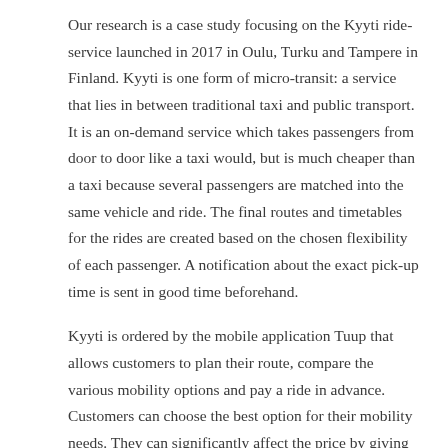Our research is a case study focusing on the Kyyti ride-service launched in 2017 in Oulu, Turku and Tampere in Finland. Kyyti is one form of micro-transit: a service that lies in between traditional taxi and public transport. It is an on-demand service which takes passengers from door to door like a taxi would, but is much cheaper than a taxi because several passengers are matched into the same vehicle and ride. The final routes and timetables for the rides are created based on the chosen flexibility of each passenger. A notification about the exact pick-up time is sent in good time beforehand.
Kyyti is ordered by the mobile application Tuup that allows customers to plan their route, compare the various mobility options and pay a ride in advance. Customers can choose the best option for their mobility needs. They can significantly affect the price by giving more possibilities for sharing the ride if they